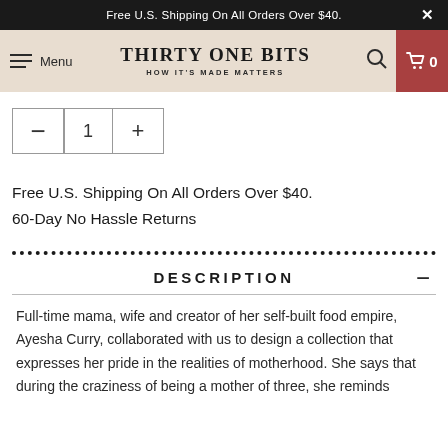Free U.S. Shipping On All Orders Over $40.
[Figure (screenshot): Thirty One Bits navigation header with hamburger menu, brand logo, search icon, and cart button showing 0 items]
[Figure (other): Quantity selector with minus, 1, and plus buttons]
Free U.S. Shipping On All Orders Over $40.
60-Day No Hassle Returns
DESCRIPTION
Full-time mama, wife and creator of her self-built food empire, Ayesha Curry, collaborated with us to design a collection that expresses her pride in the realities of motherhood. She says that during the craziness of being a mother of three, she reminds